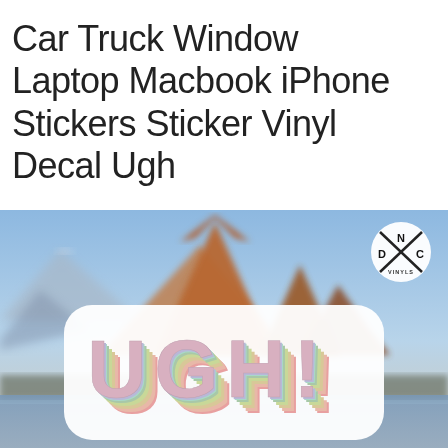Car Truck Window Laptop Macbook iPhone Stickers Sticker Vinyl Decal Ugh
[Figure (photo): Product photo showing a colorful 'UGH!' retro-style vinyl sticker with rainbow layered letters, placed against a blurred mountain landscape background with blue sky. DNC Vinyls logo appears in top right corner.]